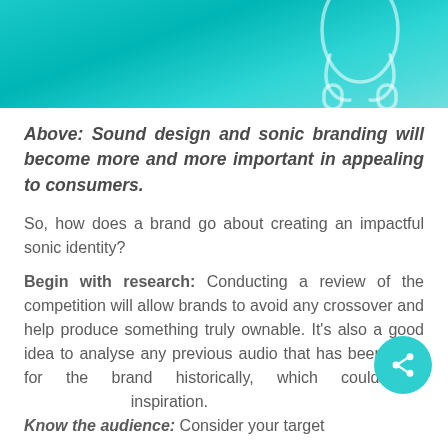[Figure (photo): Teal/cyan gradient background with white headphone outline silhouette visible at top]
Above: Sound design and sonic branding will become more and more important in appealing to consumers.
So, how does a brand go about creating an impactful sonic identity?
Begin with research: Conducting a review of the competition will allow brands to avoid any crossover and help produce something truly ownable. It's also a good idea to analyse any previous audio that has been used for the brand historically, which could act inspiration.
Know the audience: Consider your target